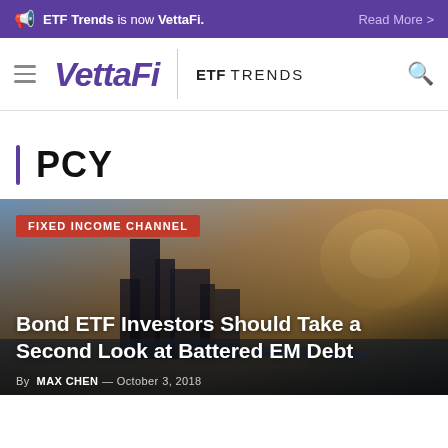ETF Trends is now VettaFi. Read More >
[Figure (logo): VettaFi logo with hamburger menu, ETF TRENDS label and search icon navigation bar]
PCY
[Figure (photo): Aerial photograph of Hong Kong harbor at sunset with city skyline, boats in the water, used as background for article card. Overlaid with 'FIXED INCOME CHANNEL' badge in red, article title 'Bond ETF Investors Should Take a Second Look at Battered EM Debt' in white, and byline 'By MAX CHEN — October 3, 2018']